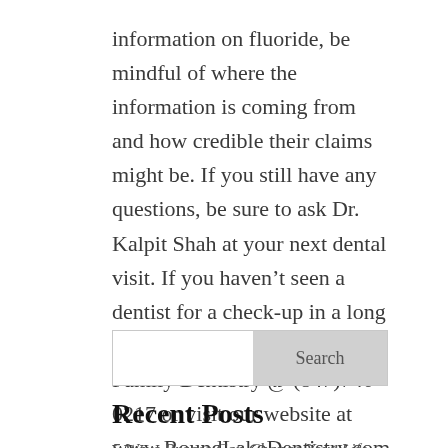information on fluoride, be mindful of where the information is coming from and how credible their claims might be. If you still have any questions, be sure to ask Dr. Kalpit Shah at your next dental visit. If you haven't seen a dentist for a check-up in a long time, please call Round Lake Family Dentistry @ (847)740-0217 or visit our website at www.RoundLakeDentistry.com to schedule your appointment!
Search
Recent Posts
5 Ways Braces Can Change Your Life...